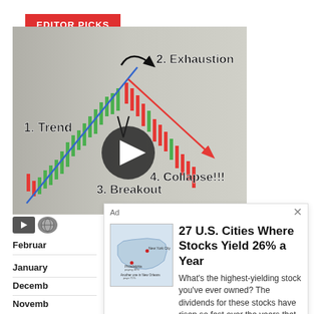EDITOR PICKS
[Figure (screenshot): Stock trading chart screenshot showing candlestick chart with handwritten annotations: '1. Trend' (blue diagonal line going up-left to upper-right), '2. Exhaustion' (curved arrow at top), '3. Breakout' (arrow pointing up in middle), '4. Collapse!!!' (red arrow pointing down-right). A circular play button is overlaid in the center of the chart.]
Ad
27 U.S. Cities Where Stocks Yield 26% a Year
What's the highest-yielding stock you've ever owned? The dividends for these stocks have risen so fast over the years that they're no...
Get in on the action here.
February
January
December
November